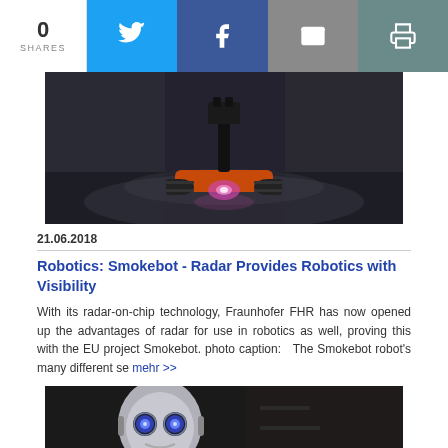0 SHARES | Twitter | Facebook | Email | Print
[Figure (photo): Dark industrial robot with tracks and raised arm/camera attachment, glowing front light, smoky environment]
21.06.2018
Robotics: Smokebot - Radar Provides Robotics with Visibility
With its radar-on-chip technology, Fraunhofer FHR has now opened up the advantages of radar for use in robotics as well, proving this with the EU project Smokebot. photo caption:   The Smokebot robot's many different se mehr >>
[Figure (photo): Humanoid robot with large round blue eyes, partial view of face and upper body, dark background]